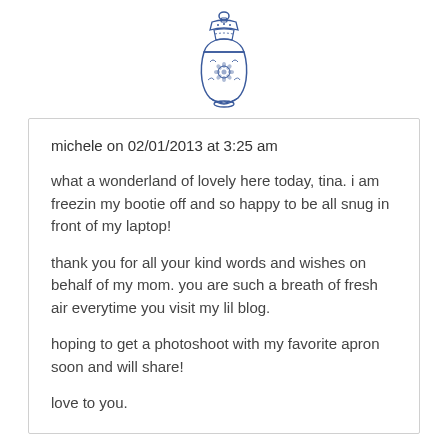[Figure (illustration): Blue and white decorative Chinese ginger jar / vase illustration]
michele on 02/01/2013 at 3:25 am
what a wonderland of lovely here today, tina. i am freezin my bootie off and so happy to be all snug in front of my laptop!
thank you for all your kind words and wishes on behalf of my mom. you are such a breath of fresh air everytime you visit my lil blog.
hoping to get a photoshoot with my favorite apron soon and will share!
love to you.